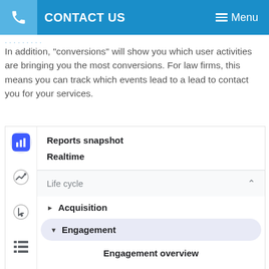CONTACT US   Menu
In addition, “conversions” will show you which user activities are bringing you the most conversions. For law firms, this means you can track which events lead to a lead to contact you for your services.
[Figure (screenshot): Google Analytics sidebar navigation screenshot showing: Reports snapshot, Realtime, Life cycle (expanded with Acquisition and Engagement items), and Engagement overview. Left sidebar has icon buttons for bar chart (active), trend chart, cursor/click, and list view.]